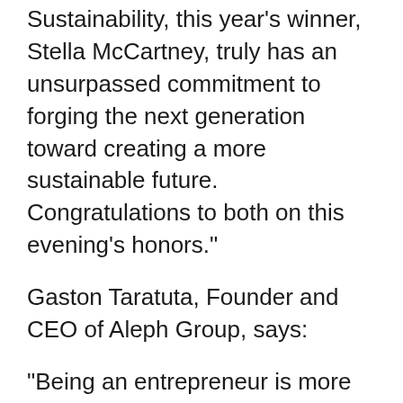Sustainability, this year's winner, Stella McCartney, truly has an unsurpassed commitment to forging the next generation toward creating a more sustainable future. Congratulations to both on this evening's honors."
Gaston Taratuta, Founder and CEO of Aleph Group, says:
"Being an entrepreneur is more than just building a successful business, it's about creating and seizing opportunities where ones don't readily exist or aren't easily attainable. Few industries have experienced more evolutions over the